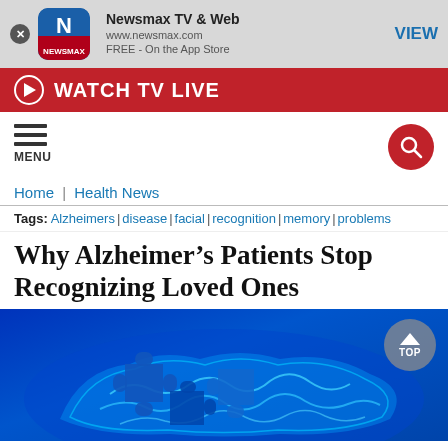[Figure (screenshot): Newsmax app banner with icon, app name 'Newsmax TV & Web', URL www.newsmax.com, FREE On the App Store, and VIEW button]
WATCH TV LIVE
[Figure (infographic): Navigation bar with hamburger MENU icon on left and red search icon circle on right]
Home | Health News
Tags: Alzheimers | disease | facial | recognition | memory | problems
Why Alzheimer's Patients Stop Recognizing Loved Ones
[Figure (photo): Digital illustration of a blue glowing brain with puzzle piece shapes on a dark blue background, with a 'TOP' navigation button overlay]